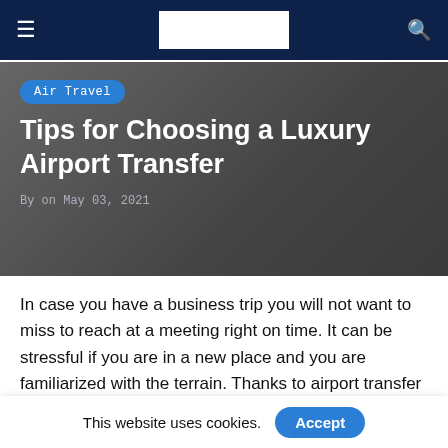Navigation bar with hamburger menu, logo, and search icon
[Figure (screenshot): Hero banner with dark grey gradient background, 'Air Travel' badge, article title, and byline]
Air Travel
Tips for Choosing a Luxury Airport Transfer
By on May 03, 2021
In case you have a business trip you will not want to miss to reach at a meeting right on time. It can be stressful if you are in a new place and you are familiarized with the terrain. Thanks to airport transfer services. They have come to lift this kind of stress from your shoulder. These
This website uses cookies. Accept